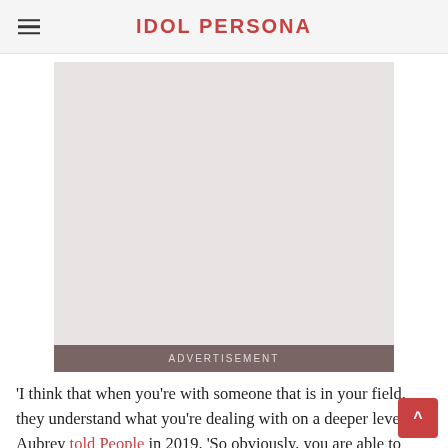IDOL PERSONA
[Figure (other): Advertisement placeholder image with grey background and 'ADVERTISEMENT' label bar at bottom]
'I think that when you're with someone that is in your field, they understand what you're dealing with on a deeper level,' Aubrey told People in 2019. 'So obviously, you are able to support eac...